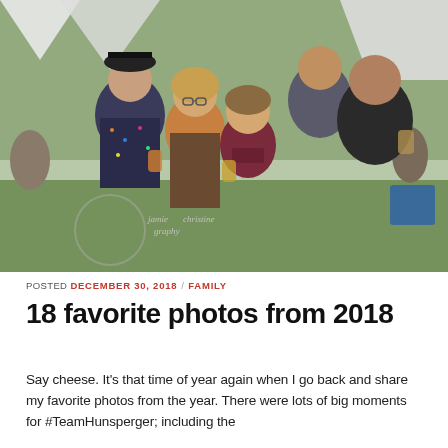[Figure (photo): A group of five adults smiling and posing outdoors at what appears to be an outdoor festival or fair. They are holding drinks. One man on the left wears a black bowler hat and a sparkly dark jacket. A woman next to him has blonde hair and glasses. A shorter woman in the center wears a maroon hoodie. A tall man behind them smiles broadly. A man on the right has a shaved head and a dark hoodie. Trees and white tents are visible in the background. A watermark reads 'jamiechristine graphy' with a circular logo.]
POSTED DECEMBER 30, 2018 / FAMILY
18 favorite photos from 2018
Say cheese. It’s that time of year again when I go back and share my favorite photos from the year. There were lots of big moments for #TeamHunsperger; including the